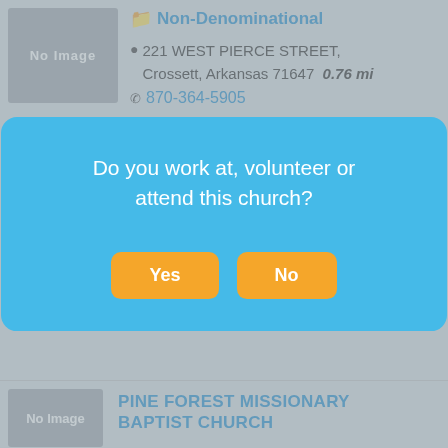[Figure (screenshot): Background of a church directory listing page showing two church listings. First listing: Non-Denominational church at 221 West Pierce Street, Crossett, Arkansas 71647, 0.76 mi away, phone 870-364-5905, description starts with 'Christian Full Gospel Church. Come'. Second partial listing visible with address 402 West Pierce Street, Crossett, Arkansas 71635, 1.04 mi, phone 870-364-6997. Third listing at bottom: Pine Forest Missionary Baptist Church. Both show 'No Image' placeholder thumbnails.]
Do you work at, volunteer or attend this church?
Yes
No